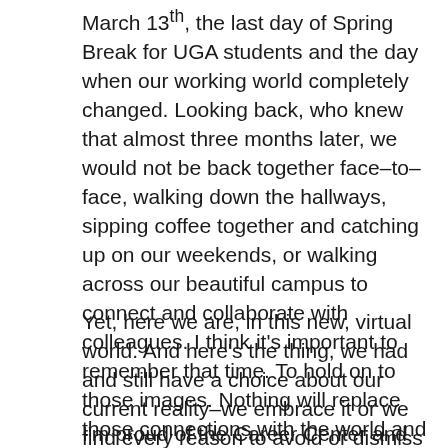March 13th, the last day of Spring Break for UGA students and the day when our working world completely changed. Looking back, who knew that almost three months later, we would not be back together face–to–face, walking down the hallways, sipping coffee together and catching up on our weekends, or walking across our beautiful campus to connect and collaborate with colleagues. I think it's important to remember that time. To hold on to those images. Nothing will replace those connections with the world and with people.
Yet, here we are, in this new, virtual world. And here's the thing, we had and still have a choice about our current reality–we embrace it or we find every reason to avoid or dismiss it.
I'm proud of the Career Center and how we have